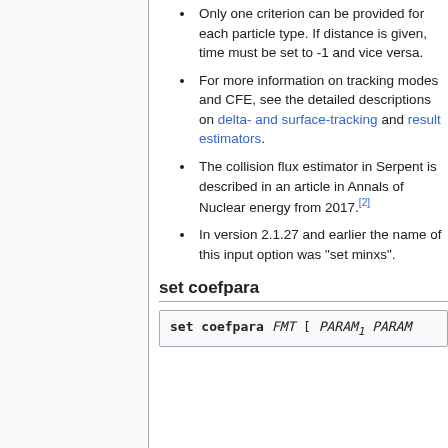Only one criterion can be provided for each particle type. If distance is given, time must be set to -1 and vice versa.
For more information on tracking modes and CFE, see the detailed descriptions on delta- and surface-tracking and result estimators.
The collision flux estimator in Serpent is described in an article in Annals of Nuclear energy from 2017.[2]
In version 2.1.27 and earlier the name of this input option was "set minxs".
set coefpara
set coefpara FMT [ PARAM1 PARAM...